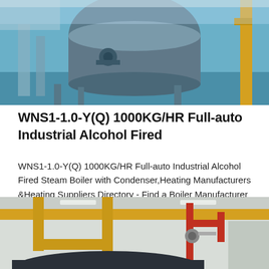[Figure (photo): Industrial boiler equipment photographed from a low angle, showing large cylindrical vessel in blue-grey color with mechanical components and piping, in a factory setting with yellow equipment visible on the right.]
WNS1-1.0-Y(Q) 1000KG/HR Full-auto Industrial Alcohol Fired
WNS1-1.0-Y(Q) 1000KG/HR Full-auto Industrial Alcohol Fired Steam Boiler with Condenser,Heating Manufacturers &Heating Suppliers Directory - Find a Boiler Manufacturer and Supplier. Choose Quality Boiler…
Get Price
[Figure (photo): Industrial boiler room interior showing yellow and red piping/pipework overhead with a large dark cylindrical boiler vessel at the bottom, ceiling visible with fluorescent lighting.]